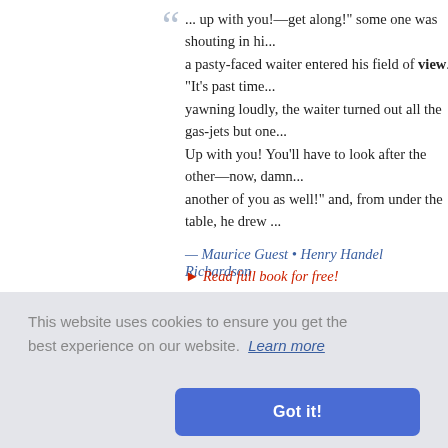... up with you!—get along!" some one was shouting in hi... a pasty-faced waiter entered his field of view. "It's past time... yawning loudly, the waiter turned out all the gas-jets but one... Up with you! You'll have to look after the other—now, damn... another of you as well!" and, from under the table, he drew ...
— Maurice Guest • Henry Handel Richardson
▸ Read full book for free!
... a space, I stood nervously pondering, and peering awa... blackness of the night; thus, in a little, I perceived a dull glo... and, presently, there rose into view the upper edge of the m... welcome sight it was to me; for I had been upon the point of... to inform him regarding the sound which I had heard; but I h...
Hodgson
employment... nd priorities...
countries devote insufficient resources to deal effectively wit...
[Figure (screenshot): Cookie consent banner overlay with text 'This website uses cookies to ensure you get the best experience on our website. Learn more' and a blue 'Got it!' button]